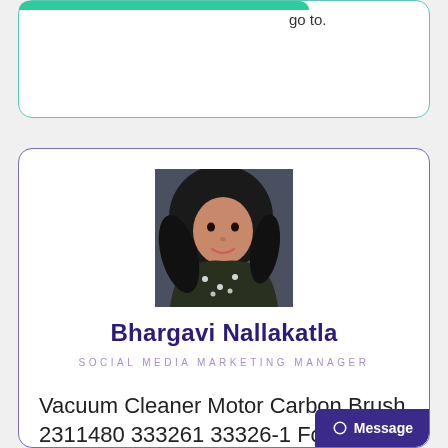go to.
[Figure (photo): Profile photo of Bhargavi Nallakatla, a woman with dark curly hair, sitting in a car]
Bhargavi Nallakatla
SOCIAL MEDIA MARKETING MANAGER
Vacuum Cleaner Motor Carbon Brush 2311480 333261 33326-1 For Ametek Lamb Too Nu